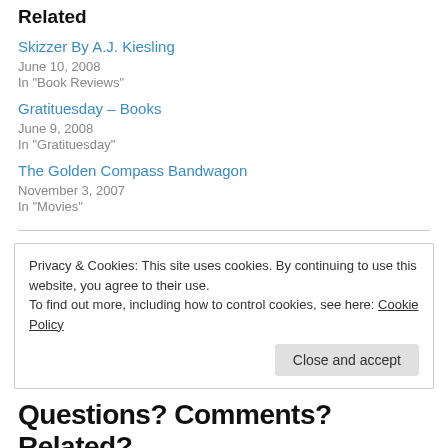Related
Skizzer By A.J. Kiesling
June 10, 2008
In "Book Reviews"
Gratituesday – Books
June 9, 2008
In "Gratituesday"
The Golden Compass Bandwagon
November 3, 2007
In "Movies"
Privacy & Cookies: This site uses cookies. By continuing to use this website, you agree to their use.
To find out more, including how to control cookies, see here: Cookie Policy
Close and accept
Questions? Comments? Related? ...